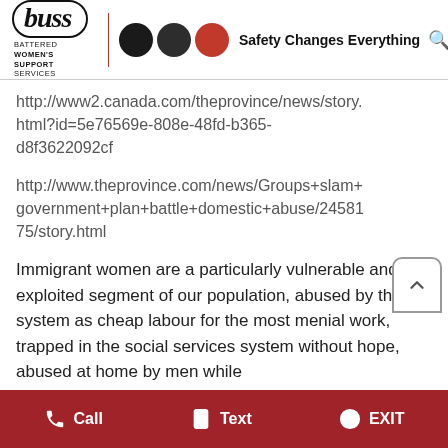[Figure (logo): BUSS - Battered Women's Support Services logo with three circles (two dark, one red) and tagline 'Safety Changes Everything']
http://www2.canada.com/theprovince/news/story.html?id=5e76569e-808e-48fd-b365-d8f3622092cf
http://www.theprovince.com/news/Groups+slam+government+plan+battle+domestic+abuse/2458175/story.html
Immigrant women are a particularly vulnerable and exploited segment of our population, abused by the system as cheap labour for the most menial work, trapped in the social services system without hope, abused at home by men while
Call  Text  EXIT